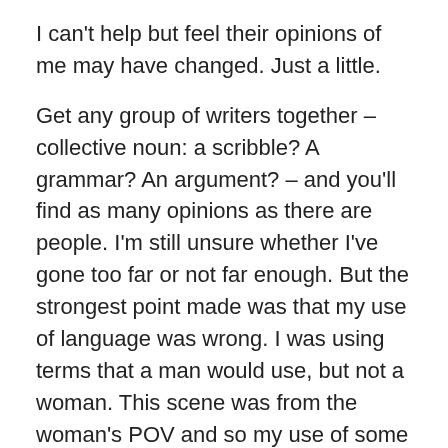I can't help but feel their opinions of me may have changed. Just a little.
Get any group of writers together – collective noun: a scribble? A grammar? An argument? – and you'll find as many opinions as there are people. I'm still unsure whether I've gone too far or not far enough. But the strongest point made was that my use of language was wrong. I was using terms that a man would use, but not a woman. This scene was from the woman's POV and so my use of some particular dirty words wasn't seen as appropriate.
I'm not sure about this. Not being a woman myself (chance would be a fine thing) obviously I can't really be sure. But my approach to writing as women is to treat them, first-and-foremost, as human beings. Is there really